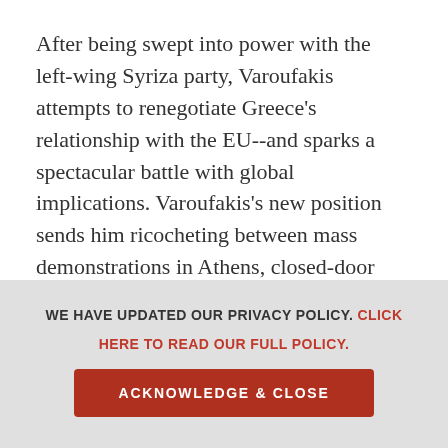After being swept into power with the left-wing Syriza party, Varoufakis attempts to renegotiate Greece's relationship with the EU--and sparks a spectacular battle with global implications. Varoufakis's new position sends him ricocheting between mass demonstrations in Athens, closed-door negotiations in drab EU and IMF offices, and furtive meetings with power brokers in Washington, D.C. He consults and quarrels with Barack Obama, Emmanuel Macron, Christine Lagarde, the economists Larry Summers and Jeffrey Sachs, and others, as he struggles to resolve Greece's debt crisis without resorting to punishing austerity measures. But despite the mass
WE HAVE UPDATED OUR PRIVACY POLICY. CLICK HERE TO READ OUR FULL POLICY.
ACKNOWLEDGE & CLOSE